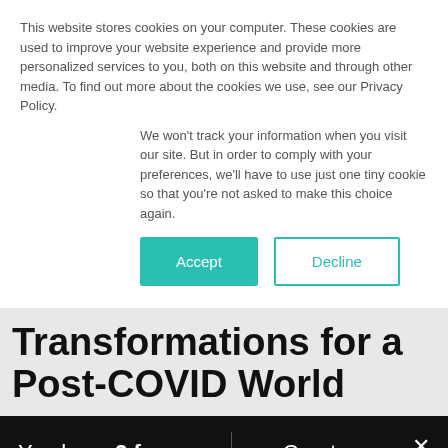This website stores cookies on your computer. These cookies are used to improve your website experience and provide more personalized services to you, both on this website and through other media. To find out more about the cookies we use, see our Privacy Policy.
We won't track your information when you visit our site. But in order to comply with your preferences, we'll have to use just one tiny cookie so that you're not asked to make this choice again.
Accept | Decline
Transformations for a Post-COVID World
You have 2 free articles left this month.
Create an account and get additional free articles.